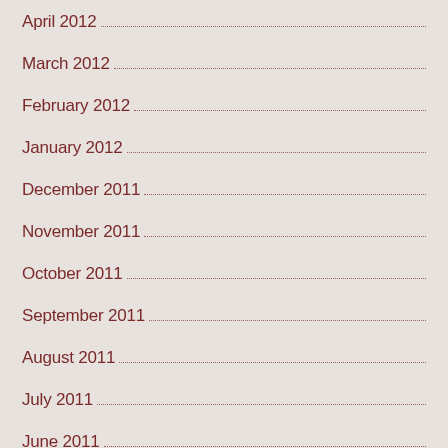April 2012
March 2012
February 2012
January 2012
December 2011
November 2011
October 2011
September 2011
August 2011
July 2011
June 2011